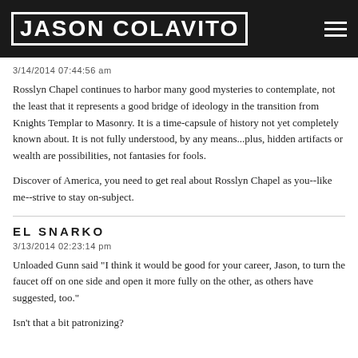JASON COLAVITO
3/14/2014 07:44:56 am
Rosslyn Chapel continues to harbor many good mysteries to contemplate, not the least that it represents a good bridge of ideology in the transition from Knights Templar to Masonry. It is a time-capsule of history not yet completely known about. It is not fully understood, by any means...plus, hidden artifacts or wealth are possibilities, not fantasies for fools.
Discover of America, you need to get real about Rosslyn Chapel as you--like me--strive to stay on-subject.
EL SNARKO
3/13/2014 02:23:14 pm
Unloaded Gunn said "I think it would be good for your career, Jason, to turn the faucet off on one side and open it more fully on the other, as others have suggested, too."
Isn't that a bit patronizing?